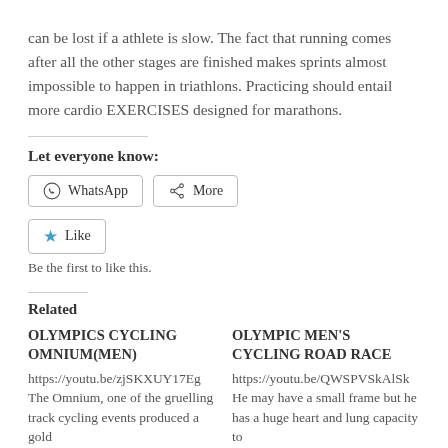can be lost if a athlete is slow. The fact that running comes after all the other stages are finished makes sprints almost impossible to happen in triathlons. Practicing should entail more cardio EXERCISES designed for marathons.
Let everyone know:
WhatsApp   More
Like
Be the first to like this.
Related
OLYMPICS CYCLING OMNIUM(MEN)
https://youtu.be/zjSKXUY17Eg The Omnium, one of the gruelling track cycling events produced a gold
OLYMPIC MEN'S CYCLING ROAD RACE
https://youtu.be/QWSPVSkAlSk He may have a small frame but he has a huge heart and lung capacity to